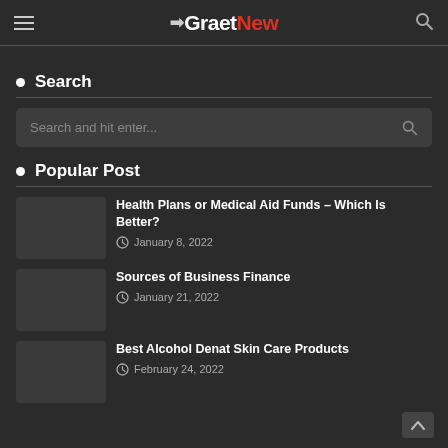GraetNew — navigation header with hamburger menu and search icon
Search
Search and hit enter...
Popular Post
Health Plans or Medical Aid Funds – Which Is Better? | January 8, 2022
Sources of Business Finance | January 21, 2022
Best Alcohol Denat Skin Care Products | February 24, 2022